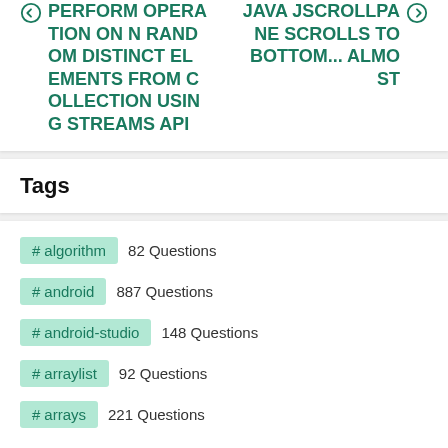PERFORM OPERATION ON N RANDOM DISTINCT ELEMENTS FROM COLLECTION USING STREAMS API
JAVA JSCROLLPANE SCROLLS TO BOTTOM... ALMOST
Tags
# algorithm   82 Questions
# android   887 Questions
# android-studio   148 Questions
# arraylist   92 Questions
# arrays   221 Questions